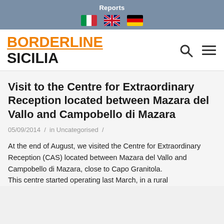Reports
[Figure (logo): BORDERLINE SICILIA logo with orange text for BORDERLINE and black text for SICILIA, accompanied by search and menu icons]
Visit to the Centre for Extraordinary Reception located between Mazara del Vallo and Campobello di Mazara
05/09/2014 / in Uncategorised /
At the end of August, we visited the Centre for Extraordinary Reception (CAS) located between Mazara del Vallo and Campobello di Mazara, close to Capo Granitola.
This centre started operating last March, in a rural